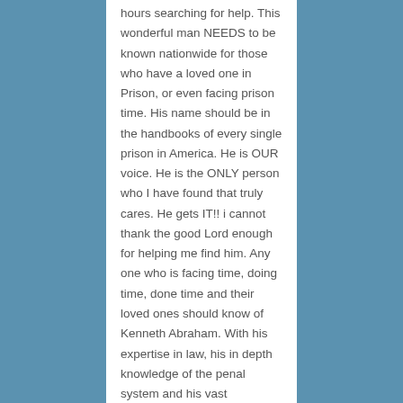hours searching for help. This wonderful man NEEDS to be known nationwide for those who have a loved one in Prison, or even facing prison time. His name should be in the handbooks of every single prison in America. He is OUR voice. He is the ONLY person who I have found that truly cares. He gets IT!! i cannot thank the good Lord enough for helping me find him. Any one who is facing time, doing time, done time and their loved ones should know of Kenneth Abraham. With his expertise in law, his in depth knowledge of the penal system and his vast knowledge of EXACTLY how broken our legal, as well as ALL prisons, are he is willing to guide/advise is invaluable! I urge